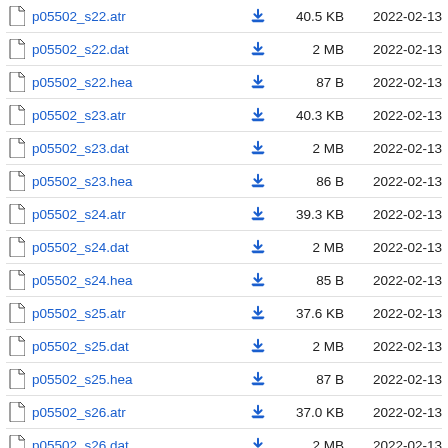| Name |  | Size | Date |
| --- | --- | --- | --- |
| p05502_s22.atr | ↓ | 40.5 KB | 2022-02-13 |
| p05502_s22.dat | ↓ | 2 MB | 2022-02-13 |
| p05502_s22.hea | ↓ | 87 B | 2022-02-13 |
| p05502_s23.atr | ↓ | 40.3 KB | 2022-02-13 |
| p05502_s23.dat | ↓ | 2 MB | 2022-02-13 |
| p05502_s23.hea | ↓ | 86 B | 2022-02-13 |
| p05502_s24.atr | ↓ | 39.3 KB | 2022-02-13 |
| p05502_s24.dat | ↓ | 2 MB | 2022-02-13 |
| p05502_s24.hea | ↓ | 85 B | 2022-02-13 |
| p05502_s25.atr | ↓ | 37.6 KB | 2022-02-13 |
| p05502_s25.dat | ↓ | 2 MB | 2022-02-13 |
| p05502_s25.hea | ↓ | 87 B | 2022-02-13 |
| p05502_s26.atr | ↓ | 37.0 KB | 2022-02-13 |
| p05502_s26.dat | ↓ | 2 MB | 2022-02-13 |